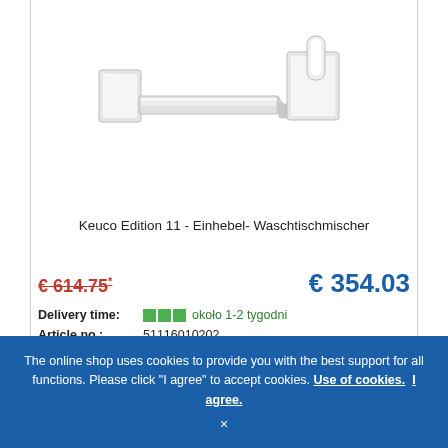[Figure (photo): Keuco Edition 11 wall-mounted single-lever basin mixer faucet in chrome finish, showing two wall plates and a horizontal spout with lever handle.]
Keuco Edition 11 - Einhebel- Waschtischmischer
€ 614.75*
€ 354.03
Delivery time: ■■■ około 1-2 tygodni
Article no.: 51116010202
ADD TO CART
The online shop uses cookies to provide you with the best support for all functions. Please click "I agree" to accept cookies. Use of cookies.  I agree.